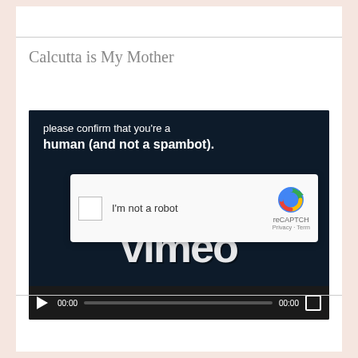Calcutta is My Mother
[Figure (screenshot): A Vimeo video player showing a reCAPTCHA overlay. The video background is dark navy with text 'please confirm that you're a human (and not a spambot).' A reCAPTCHA widget shows a checkbox labeled 'I'm not a robot' with the reCAPTCHA logo and 'reCAPTCH' and 'Privacy · Term' text. The Vimeo wordmark is visible below. Video controls show play button, 00:00 timestamps, a progress bar, and fullscreen button.]